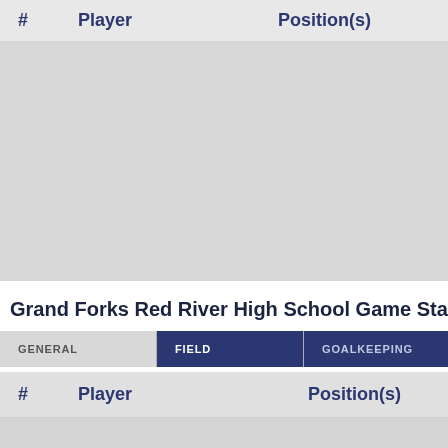| # | Player | Position(s) |
| --- | --- | --- |
Grand Forks Red River High School Game Statistics
| # | Player | Position(s) |
| --- | --- | --- |